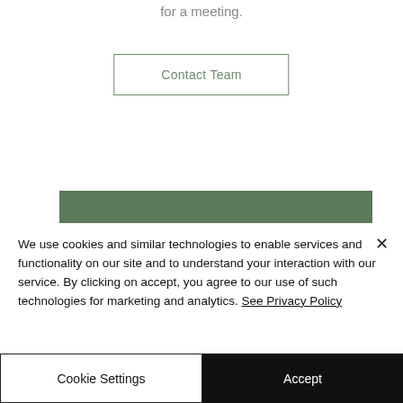for a meeting.
Contact Team
[Figure (other): Green/olive colored rectangular bar element, partial website section background]
We use cookies and similar technologies to enable services and functionality on our site and to understand your interaction with our service. By clicking on accept, you agree to our use of such technologies for marketing and analytics. See Privacy Policy
Cookie Settings
Accept